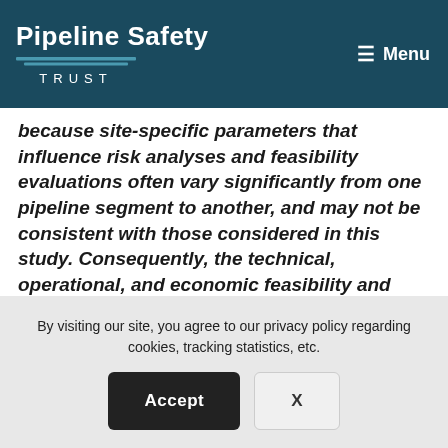Pipeline Safety Trust | Menu
because site-specific parameters that influence risk analyses and feasibility evaluations often vary significantly from one pipeline segment to another, and may not be consistent with those considered in this study. Consequently, the technical, operational, and economic feasibility and potential cost benefits of installing ASVs and RCVs in newly constructed or fully replaced pipelines need to be evaluated on a case-by-case basis.
By visiting our site, you agree to our privacy policy regarding cookies, tracking statistics, etc.